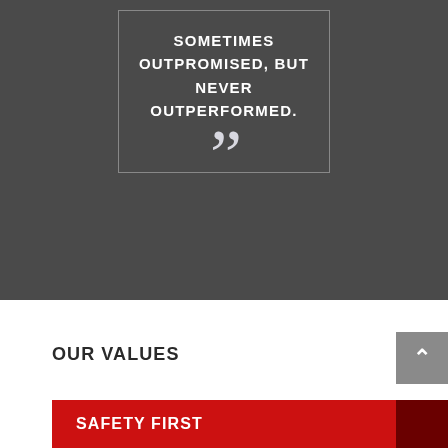[Figure (illustration): Dark gray background section with a bordered quote box containing the text 'SOMETIMES OUTPROMISED, BUT NEVER OUTPERFORMED.' with large closing quotation marks below in light gray.]
OUR VALUES
SAFETY FIRST